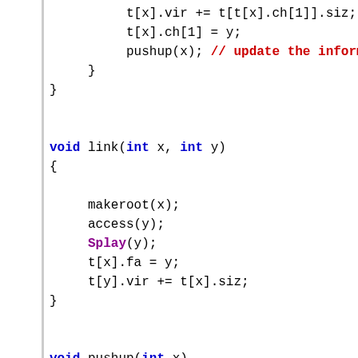[Figure (screenshot): Syntax-highlighted C++ code snippet showing the end of a function with t[x].vir += t[t[x].ch[1]].siz, t[x].ch[1] = y, pushup(x) with a comment, closing braces, then void link(int x, int y) function body with makeroot(x), access(y), Splay(y), t[x].fa = y, t[y].vir += t[x].siz, closing brace, then start of void pushup(int x) function.]